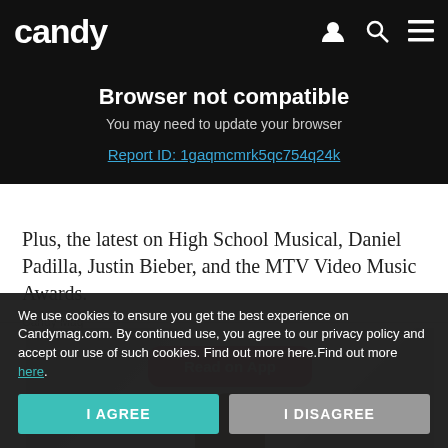candy
Browser not compatible
You may need to update your browser
Report ID: 1gaqmcmrk5qc754q24k
Plus, the latest on High School Musical, Daniel Padilla, Justin Bieber, and the MTV Video Music Awards.
Candy Mag
[Figure (photo): Article image with a Read on App button overlay showing a person from behind]
We use cookies to ensure you get the best experience on Candymag.com. By continued use, you agree to our privacy policy and accept our use of such cookies. Find out more here.Find out more here.
I AGREE
I DISAGREE